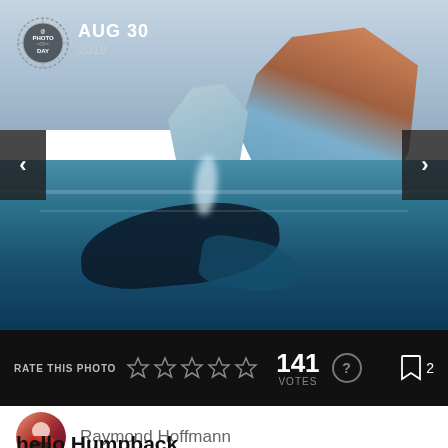[Figure (photo): Aerial/water-level photo of a humpback whale spouting near large icebergs in icy blue arctic water, with dramatic orange-lit glaciers in the background. A Photo of the Day badge is overlaid in the top-left corner dated AUG 30 2019. Navigation arrows on left and right sides of image.]
RATE THIS PHOTO  141 VOTES  ☆☆☆☆☆  ? bookmark 2
Raymond Hoffmann
hello Humpback